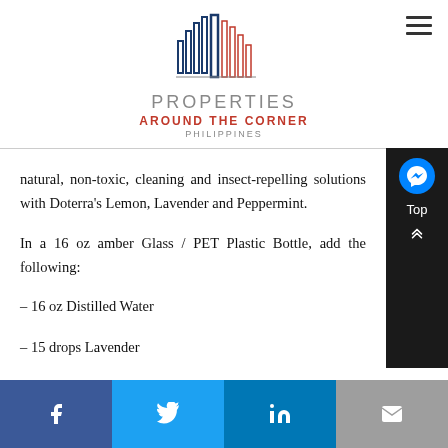[Figure (logo): Properties Around the Corner Philippines logo with stylized building skyline icon in blue and red]
natural, non-toxic, cleaning and insect-repelling solutions with Doterra's Lemon, Lavender and Peppermint.
In a 16 oz amber Glass / PET Plastic Bottle, add the following:
– 16 oz Distilled Water
– 15 drops Lavender
[Figure (other): Social media share bar with Facebook, Twitter, LinkedIn, and email buttons]